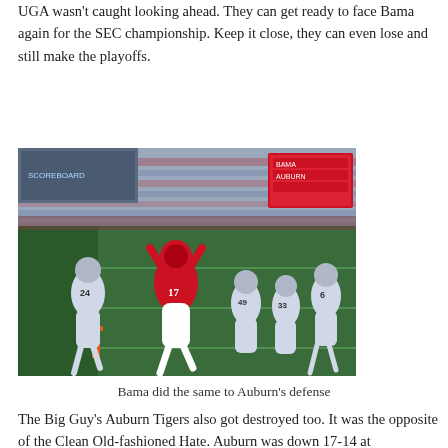UGA wasn't caught looking ahead. They can get ready to face Bama again for the SEC championship. Keep it close, they can even lose and still make the playoffs.
[Figure (photo): Football player in red jersey number 17 running into the end zone with arms raised, pursued by white-uniformed defenders, in a packed stadium at night.]
Bama did the same to Auburn's defense
The Big Guy's Auburn Tigers also got destroyed too. It was the opposite of the Clean Old-fashioned Hate. Auburn was down 17-14 at